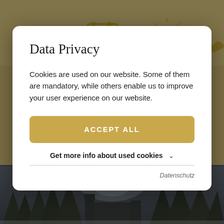[Figure (screenshot): Website background showing navigation icons (hamburger menu, calendar, sun icon, phone icon) on a warm beige/tan background at the top, and a winter landscape photo with snow-covered trees and a building at the bottom.]
Data Privacy
Cookies are used on our website. Some of them are mandatory, while others enable us to improve your user experience on our website.
ACCEPT ALL
Get more info about used cookies
Datenschutz